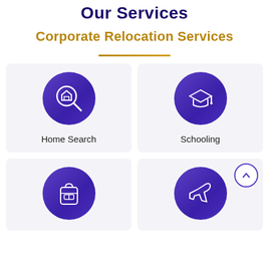Our Services
Corporate Relocation Services
[Figure (illustration): Service card with magnifying glass over house icon in purple circle, labeled Home Search]
[Figure (illustration): Service card with graduation cap icon in purple circle, labeled Schooling]
[Figure (illustration): Service card with backpack icon in purple circle, partially visible]
[Figure (illustration): Service card with airplane icon in purple circle, with scroll-to-top button overlay, partially visible]